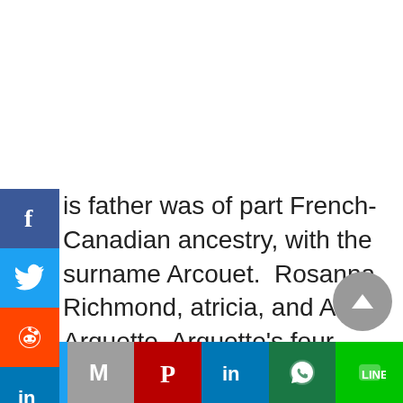[Figure (infographic): Social media share sidebar with Facebook, Twitter, Reddit, LinkedIn, Pinterest, MeWe buttons on the left side]
is father was of part French-Canadian ancestry, with the surname Arcouet. Rosanna, Richmond, atricia, and Alexis Arquette, Arquette's four iblings, are all actors. The Arquettes had an odd pbringing, with a father who struggled with ubstance misuse on times.
[Figure (infographic): Bottom social share bar with Twitter, Gmail/M, Pinterest, LinkedIn, WhatsApp, Line buttons]